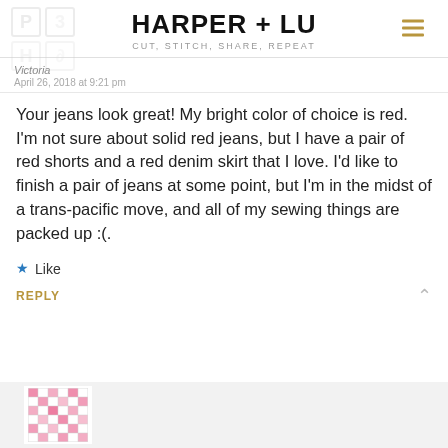HARPER + LU
CUT, STITCH, SHARE, REPEAT
Victoria
April 26, 2018 at 9:21 pm
Your jeans look great! My bright color of choice is red. I'm not sure about solid red jeans, but I have a pair of red shorts and a red denim skirt that I love. I'd like to finish a pair of jeans at some point, but I'm in the midst of a trans-pacific move, and all of my sewing things are packed up :(.
★ Like
REPLY